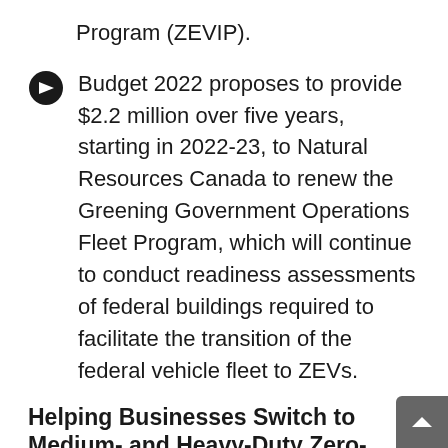Program (ZEVIP).
Budget 2022 proposes to provide $2.2 million over five years, starting in 2022-23, to Natural Resources Canada to renew the Greening Government Operations Fleet Program, which will continue to conduct readiness assessments of federal buildings required to facilitate the transition of the federal vehicle fleet to ZEVs.
Helping Businesses Switch to Medium- and Heavy-Duty Zero-Emission Vehicles
Businesses across Canada want to make the